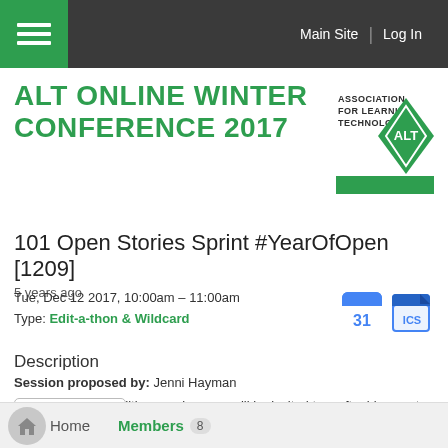Main Site | Log In
ALT ONLINE WINTER CONFERENCE 2017
[Figure (logo): Association for Learning Technology (ALT) diamond-shaped logo with green and white colors]
101 Open Stories Sprint #YearOfOpen [1209]
5 years ago
Tue, Dec 12 2017, 10:00am – 11:00am
Type: Edit-a-thon & Wildcard
Description
Session proposed by: Jenni Hayman
In this 60-minute editing session, you will be invited to craft a blog post,
Home  Members 8